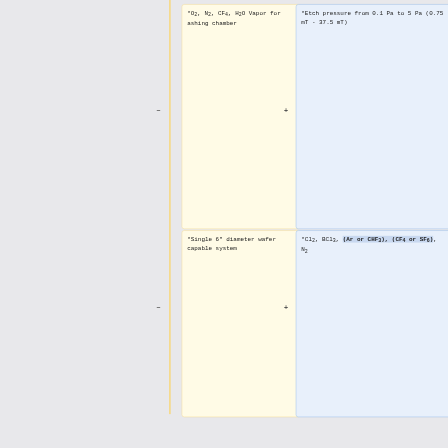| *O2, N2, CF4, H2O Vapor for ashing chamber | *Etch pressure from 0.1 Pa to 5 Pa (0.75 mT - 37.5 mT) |
| *Single 6" diameter wafer capable system | *Cl2, BCl3, (Ar or CHF3), (CF4 or SF6), N2 |